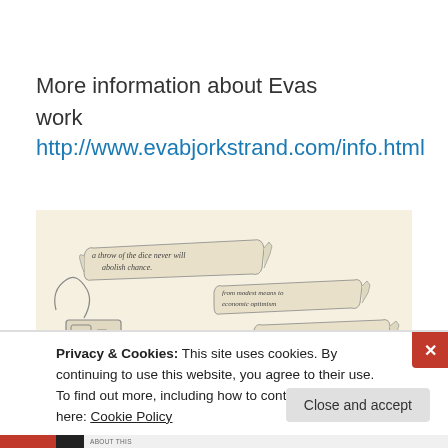More information about Evas work http://www.evabjorkstrand.com/info.html
[Figure (illustration): Pencil illustration on cream background showing banner scrolls with handwritten text: 'a throw of the dice never will abolish chance', 'from modest means to economic optimism', 'to whom it may concern'. Includes sketched mechanical or figure elements.]
Privacy & Cookies: This site uses cookies. By continuing to use this website, you agree to their use.
To find out more, including how to control cookies, see here: Cookie Policy
Close and accept